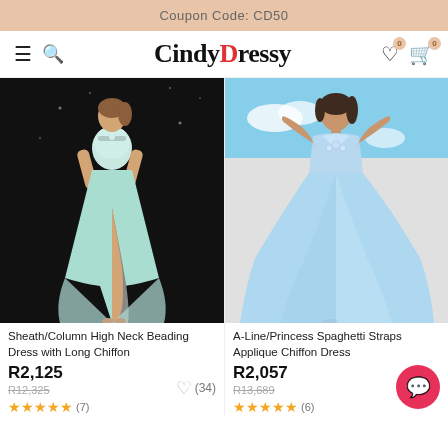Coupon Code: CD50
[Figure (logo): CindyDressy website navigation bar with hamburger menu, search icon, logo, wishlist and cart icons]
[Figure (photo): Model wearing a Sheath/Column High Neck Beading Dress with Long Chiffon in mint/aqua color against dark background]
[Figure (photo): Model wearing an A-Line/Princess Spaghetti Straps Applique Chiffon Dress in light blue against light background]
Sheath/Column High Neck Beading Dress with Long Chiffon
A-Line/Princess Spaghetti Straps Applique Chiffon Dress
R2,125
R12,325
★★★★★ (7) ♡ (34)
R2,057
R13,689
★★★★★ (6)